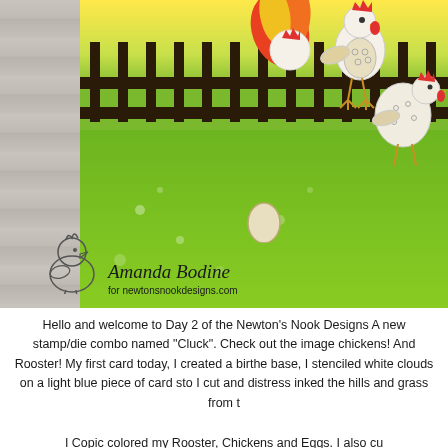[Figure (photo): A crafted greeting card featuring colorful cartoon chickens, a rooster, and eggs on a bright green grass background with a dark fence, against a wood plank surface. A hand-lettered signature reads 'Amanda Bodine for newtonsnookdesigns.com' with a small chick outline stamp.]
Hello and welcome to Day 2 of the Newton's Nook Designs A new stamp/die combo named "Cluck". Check out the image chickens!  And Rooster! My first card today, I created a birthe base, I stenciled white clouds on a light blue piece of card sto I cut and distress inked the hills and grass from t
I Copic colored my Rooster, Chickens and Eggs. I also cu